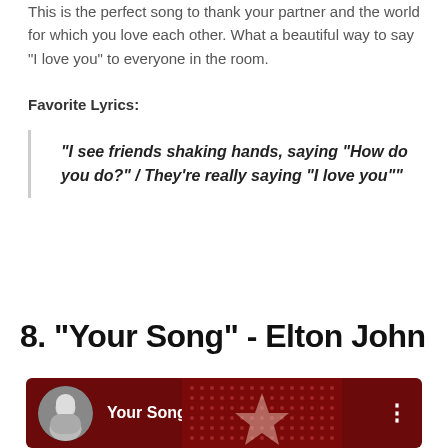This is the perfect song to thank your partner and the world for which you love each other. What a beautiful way to say “I love you” to everyone in the room.
Favorite Lyrics:
“I see friends shaking hands, saying “How do you do?” / They’re really saying “I love you””
8. “Your Song” - Elton John
[Figure (screenshot): YouTube music player thumbnail showing 'Your Song (Remastered)' by Elton John with a dark red background and Elton John avatar]